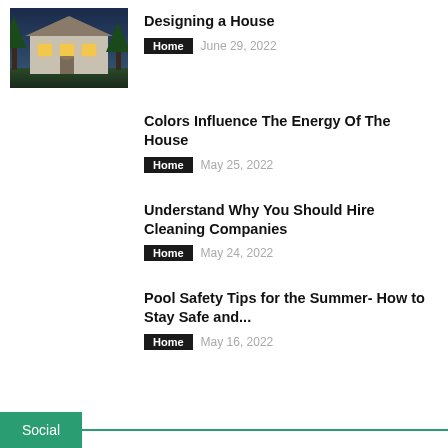[Figure (photo): Thumbnail photo of a modern house at dusk]
Designing a House
Home   June 29, 2022
Colors Influence The Energy Of The House
Home   May 25, 2022
Understand Why You Should Hire Cleaning Companies
Home   May 24, 2022
Pool Safety Tips for the Summer- How to Stay Safe and...
Home   May 16, 2022
Social